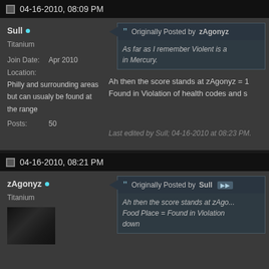04-16-2010, 08:09 PM
Sull • Titanium Join Date: Apr 2010 Location: Philly and surrounding areas but can usualy be found at the range Posts: 50
Originally Posted by zAgonyz As far as I remember Violent is a... in Mercury.
Ah then the score stands at zAgonyz = ... Found in Violation of health codes and s...
Last edited by Sull; 04-16-2010 at 08:23 PM.
04-16-2010, 08:21 PM
zAgonyz • Titanium
Originally Posted by Sull Ah then the score stands at zAgo... Food Place = Found in Violation ... down